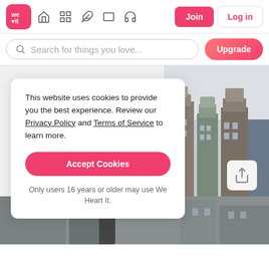[Figure (screenshot): We Heart It website navigation bar with logo, icons, Join and Log in buttons]
[Figure (screenshot): Search bar with placeholder text 'Search for things you love...' and pink Upgrade button]
This website uses cookies to provide you the best experience. Review our Privacy Policy and Terms of Service to learn more.
Accept Cookies
Only users 16 years or older may use We Heart It.
[Figure (photo): Photo of European-style buildings (Amsterdam) and a woman in the lower portion]